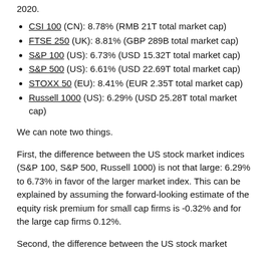2020.
CSI 100 (CN): 8.78% (RMB 21T total market cap)
FTSE 250 (UK): 8.81% (GBP 289B total market cap)
S&P 100 (US): 6.73% (USD 15.32T total market cap)
S&P 500 (US): 6.61% (USD 22.69T total market cap)
STOXX 50 (EU): 8.41% (EUR 2.35T total market cap)
Russell 1000 (US): 6.29% (USD 25.28T total market cap)
We can note two things.
First, the difference between the US stock market indices (S&P 100, S&P 500, Russell 1000) is not that large: 6.29% to 6.73% in favor of the larger market index. This can be explained by assuming the forward-looking estimate of the equity risk premium for small cap firms is -0.32% and for the large cap firms 0.12%.
Second, the difference between the US stock market